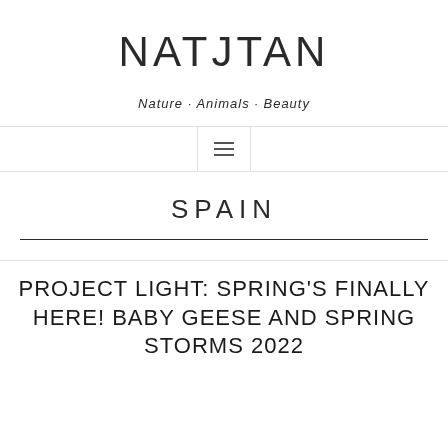NATJTAN
Nature · Animals · Beauty
SPAIN
PROJECT LIGHT: SPRING'S FINALLY HERE! BABY GEESE AND SPRING STORMS 2022